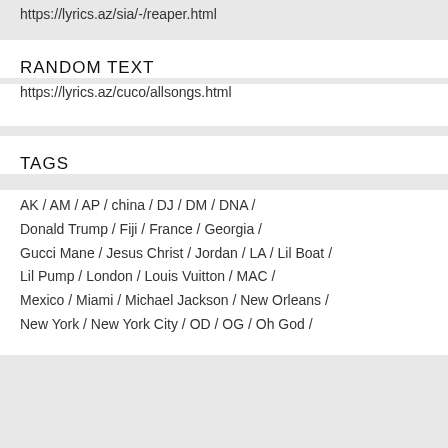https://lyrics.az/sia/-/reaper.html
RANDOM TEXT
https://lyrics.az/cuco/allsongs.html
TAGS
AK / AM / AP / china / DJ / DM / DNA / Donald Trump / Fiji / France / Georgia / Gucci Mane / Jesus Christ / Jordan / LA / Lil Boat / Lil Pump / London / Louis Vuitton / MAC / Mexico / Miami / Michael Jackson / New Orleans / New York / New York City / OD / OG / Oh God /